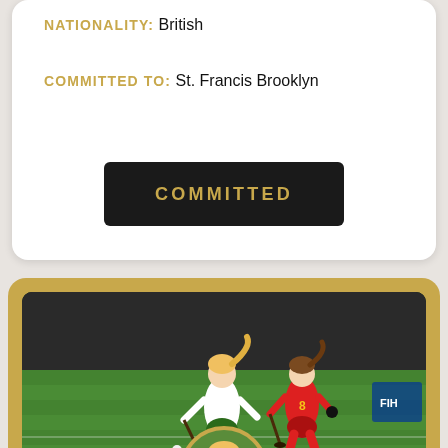NATIONALITY: British
COMMITTED TO: St. Francis Brooklyn
COMMITTED
[Figure (photo): Two female field hockey players on a green turf field. One in white/green uniform (Irish national team colors) with the ball, one in red/yellow uniform defending. Both running and holding hockey sticks.]